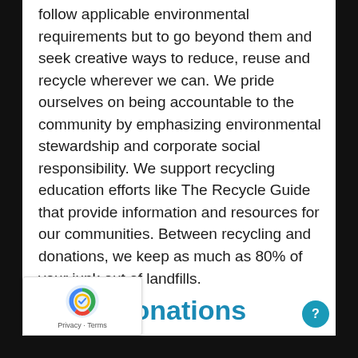follow applicable environmental requirements but to go beyond them and seek creative ways to reduce, reuse and recycle wherever we can. We pride ourselves on being accountable to the community by emphasizing environmental stewardship and corporate social responsibility. We support recycling education efforts like The Recycle Guide that provide information and resources for our communities. Between recycling and donations, we keep as much as 80% of your junk out of landfills.
Donations